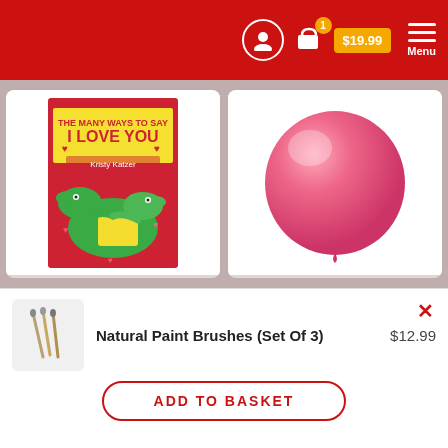Cart: 1 item $19.99 | Menu
[Figure (photo): Book cover: The Many Ways To Say I Love You by Kristy Katzer, showing two crocodiles hugging]
The Many Ways To Say I Love You
★★★★★ $14.99
[Figure (photo): Pink inflatable bubble ball on white background]
Indestructible Bubble Ball
★★★★★ $16.99
Activity & Entertainment
[Figure (photo): Natural paint brushes set of 3 on light background]
Natural Paint Brushes (Set Of 3)  $12.99
ADD TO BASKET